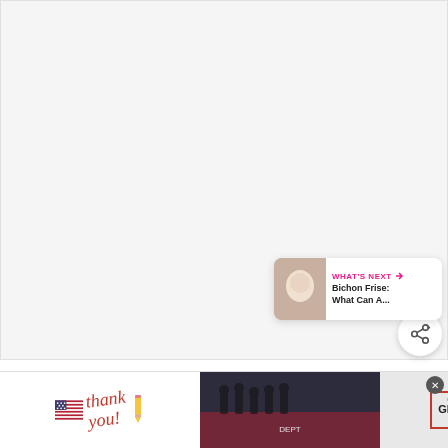[Figure (photo): Large image placeholder area (photo of a Bichon Frise or related content), mostly white/light gray background]
[Figure (other): Heart/favorite button (pink circle with white heart icon)]
[Figure (other): Share button (white circle with share icon)]
[Figure (other): What's Next card showing thumbnail and text: WHAT'S NEXT → Bichon Frise: What Can A...]
While Bichons can be quite fearless, most also h...n. Your B...the
[Figure (other): Advertisement banner: Thank you with American flag, firefighters photo, Operation Gratitude logo, close button]